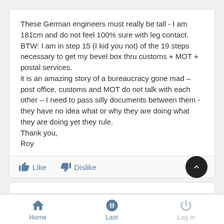These German engineers must really be tall - I am 181cm and do not feel 100% sure with leg contact.
BTW: I am in step 15 (I kid you not) of the 19 steps necessary to get my bevel box thru customs + MOT + postal services.
it is an amazing story of a bureaucracy gone mad – post office, customs and MOT do not talk with each other – I need to pass silly documents between them - they have no idea what or why they are doing what they are doing yet they rule.
Thank you,
Roy
Home  Last  Log in